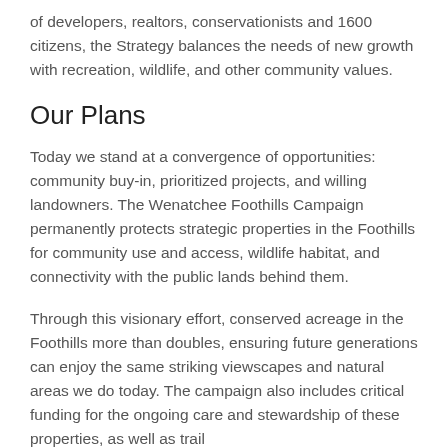of developers, realtors, conservationists and 1600 citizens, the Strategy balances the needs of new growth with recreation, wildlife, and other community values.
Our Plans
Today we stand at a convergence of opportunities: community buy-in, prioritized projects, and willing landowners. The Wenatchee Foothills Campaign permanently protects strategic properties in the Foothills for community use and access, wildlife habitat, and connectivity with the public lands behind them.
Through this visionary effort, conserved acreage in the Foothills more than doubles, ensuring future generations can enjoy the same striking viewscapes and natural areas we do today. The campaign also includes critical funding for the ongoing care and stewardship of these properties, as well as trail